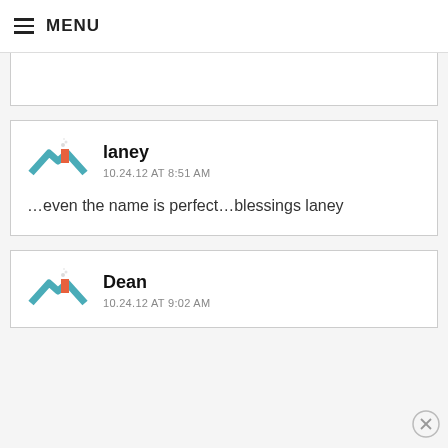MENU
[Figure (screenshot): Partial comment card stub at top]
[Figure (illustration): Comment card for user laney with avatar icon]
laney
10.24.12 AT 8:51 AM
…even the name is perfect…blessings laney
[Figure (illustration): Partial comment card for user Dean with avatar icon]
Dean
10.24.12 AT 9:02 AM